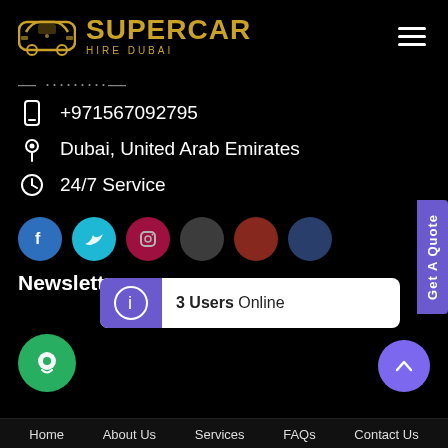[Figure (logo): Supercar Hire Dubai logo with golden car silhouette and SUPERCAR text in gold, HIRE DUBAI subtitle]
— ·········—
+971567092795
Dubai, United Arab Emirates
24/7 Service
[Figure (illustration): Social media icons: Facebook (blue), Twitter (cyan), Instagram (pink/red), and others partially visible]
Newsletter
[Figure (illustration): 3 Users Online popup with purple left panel showing info icon and white right panel with bold text]
[Figure (illustration): Get A Quote vertical purple sidebar tab on right edge]
[Figure (illustration): Green chat bubble button bottom left, purple back-to-top arrow button bottom right]
Home   About Us   Services   FAQs   Contact Us